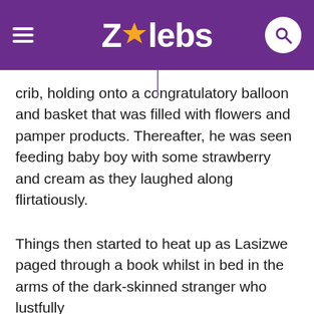ZAlebs
crib, holding onto a congratulatory balloon and basket that was filled with flowers and pamper products. Thereafter, he was seen feeding baby boy with some strawberry and cream as they laughed along flirtatiously.
Things then started to heat up as Lasizwe paged through a book whilst in bed in the arms of the dark-skinned stranger who lustfully